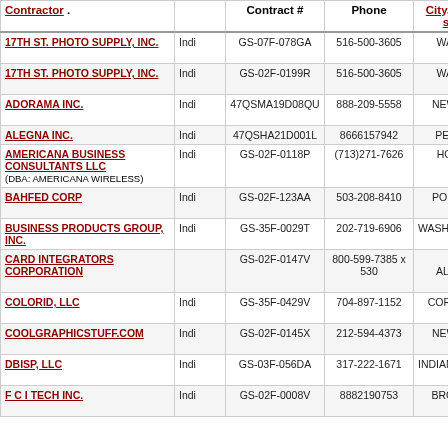| Contractor |  | Contract # | Phone | City, State sort |
| --- | --- | --- | --- | --- |
| 17TH ST. PHOTO SUPPLY, INC. | Indi | GS-07F-078GA | 516-500-3605 | WANTAGH ,NY |
| 17TH ST. PHOTO SUPPLY, INC. | Indi | GS-02F-0199R | 516-500-3605 | WANTAGH ,NY |
| ADORAMA INC. | Indi | 47QSMA19D08QU | 888-209-5558 | NEW YORK ,NY |
| ALEGNA INC. | Indi | 47QSHA21D001L | 8666157942 | PEORIA ,IL |
| AMERICANA BUSINESS CONSULTANTS LLC (DBA: AMERICANA WIRELESS) | Indi | GS-02F-0118P | (713)271-7626 | HOUSTON ,TX |
| BAHFED CORP | Indi | GS-02F-123AA | 503-208-8410 | PORTLAND ,OR |
| BUSINESS PRODUCTS GROUP, INC. | Indi | GS-35F-0029T | 202-719-6906 | WASHINGTON ,DC |
| CARD INTEGRATORS CORPORATION |  | GS-02F-0147V | 800-599-7385 x 530 | LOS ALAMITOS ,CA |
| COLORID, LLC | Indi | GS-35F-0429V | 704-897-1152 | CORNELIUS ,NC |
| COOLGRAPHICSTUFF.COM | Indi | GS-02F-0145X | 212-594-4373 | NEW YORK ,NY |
| DBISP, LLC | Indi | GS-03F-056DA | 317-222-1671 | INDIANAPOLIS ,IN |
| F C I TECH INC. | Indi | GS-02F-0008V | 8882190753 | BROOKLYN ,NY |